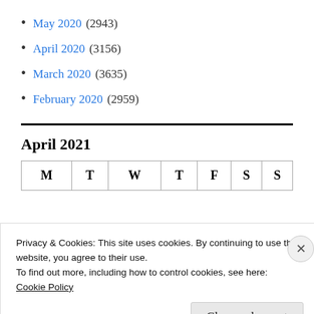May 2020 (2943)
April 2020 (3156)
March 2020 (3635)
February 2020 (2959)
April 2021
| M | T | W | T | F | S | S |
| --- | --- | --- | --- | --- | --- | --- |
Privacy & Cookies: This site uses cookies. By continuing to use this website, you agree to their use.
To find out more, including how to control cookies, see here:
Cookie Policy
Close and accept